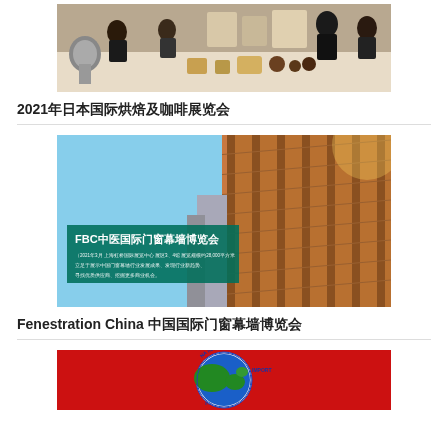[Figure (photo): Exhibition scene showing people at trade show booths with products on tables]
2021年日本国际烘焙及咖啡展览会
[Figure (photo): FBC中国国际门窗幕墙博览会 - Building facade with glass and metal cladding, teal overlay with Chinese text]
Fenestration China 中国国际门窗幕墙博览会
[Figure (photo): China International Import Expo logo - globe with red background showing 'NA INTER... IMPORT E...' text]